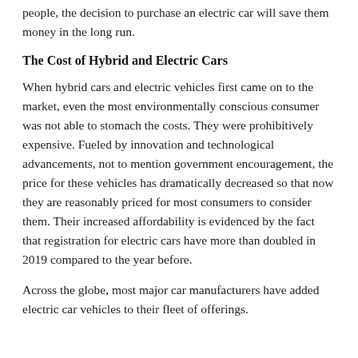people, the decision to purchase an electric car will save them money in the long run.
The Cost of Hybrid and Electric Cars
When hybrid cars and electric vehicles first came on to the market, even the most environmentally conscious consumer was not able to stomach the costs. They were prohibitively expensive. Fueled by innovation and technological advancements, not to mention government encouragement, the price for these vehicles has dramatically decreased so that now they are reasonably priced for most consumers to consider them. Their increased affordability is evidenced by the fact that registration for electric cars have more than doubled in 2019 compared to the year before.
Across the globe, most major car manufacturers have added electric car vehicles to their fleet of offerings.